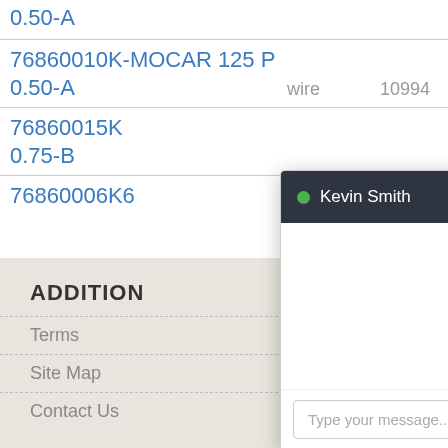0.50-A
76860010K-MOCAR 125 P
0.50-A
wire    10994
76860015K
0.75-B
76860006K6
2
ADDITION
Terms
Site Map
Contact Us
[Figure (screenshot): Chat popup overlay with dark header showing green online indicator and name 'Kevin Smith' with X close button, white chat body area, and 'Type your message...' input field at bottom]